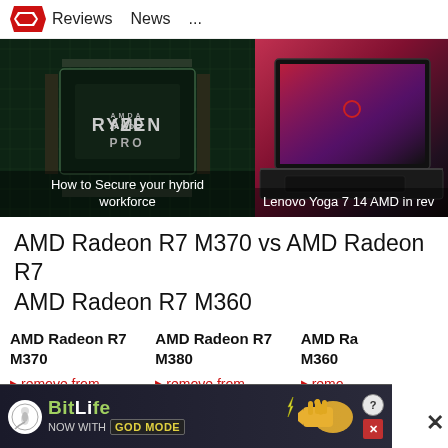Reviews   News   ...
[Figure (photo): AMD Ryzen Pro processor chip close-up on circuit board with text overlay: How to Secure your hybrid workforce]
How to Secure your hybrid workforce
[Figure (photo): Lenovo Yoga 7 14 laptop with red display, partial view, with text overlay: Lenovo Yoga 7 14 AMD in rev]
Lenovo Yoga 7 14 AMD in rev
AMD Radeon R7 M370 vs AMD Radeon R7 AMD Radeon R7 M360
AMD Radeon R7 M370
AMD Radeon R7 M380
AMD Ra M360
▶ remove from
▶ remove from
▶ remo
[Figure (screenshot): BitLife advertisement banner: BitLife - Now with GOD MODE, with hand/coin graphic, help and close buttons]